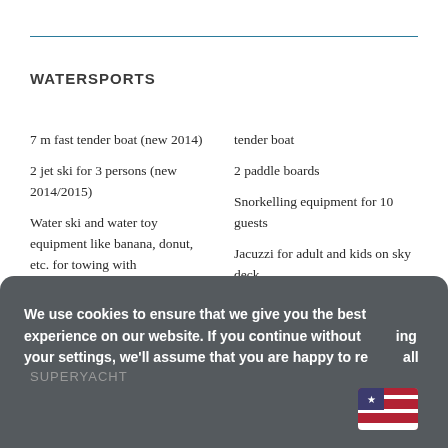WATERSPORTS
7 m fast tender boat (new 2014)
2 jet ski for 3 persons (new 2014/2015)
Water ski and water toy equipment like banana, donut, etc. for towing with
tender boat
2 paddle boards
Snorkelling equipment for 10 guests
Jacuzzi for adult and kids on sky deck
We use cookies to ensure that we give you the best experience on our website. If you continue without changing your settings, we'll assume that you are happy to receive all